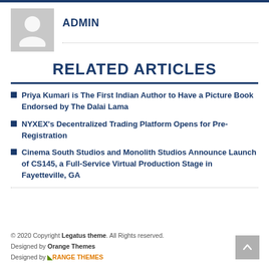[Figure (illustration): Admin avatar: grey placeholder silhouette icon]
ADMIN
RELATED ARTICLES
Priya Kumari is The First Indian Author to Have a Picture Book Endorsed by The Dalai Lama
NYXEX's Decentralized Trading Platform Opens for Pre-Registration
Cinema South Studios and Monolith Studios Announce Launch of CS145, a Full-Service Virtual Production Stage in Fayetteville, GA
© 2020 Copyright Legatus theme. All Rights reserved.
Designed by Orange Themes
Designed by ORANGE THEMES